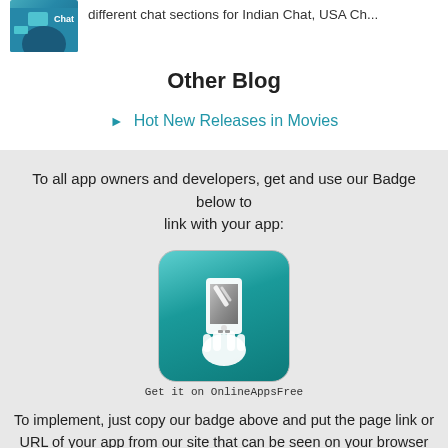different chat sections for Indian Chat, USA Ch...
Other Blog
Hot New Releases in Movies
To all app owners and developers, get and use our Badge below to link with your app:
[Figure (illustration): App badge icon showing a hand holding a smartphone on a teal/green gradient rounded-square background, with text 'Get it on OnlineAppsFree']
To implement, just copy our badge above and put the page link or URL of your app from our site that can be seen on your browser web address. You are also free to resize it. If you have queries, don't hesitate to contact us. Thank you!